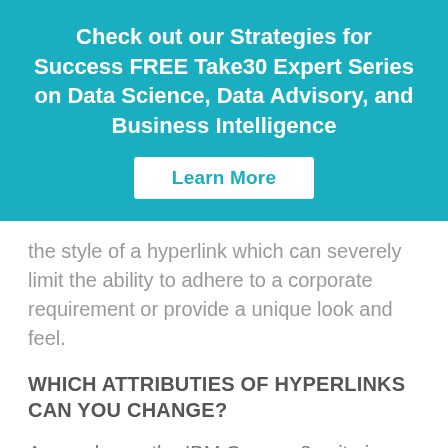Check out our Strategies for Success FREE Take30 Expert Series on Data Science, Data Advisory, and Business Intelligence
Learn More
the style of a hyperlink which can severely limit the ability to adhere to a corporate requirement or provide a unique look and feel.
WHICH ATTRIBUTIES OF HYPERLINKS CAN YOU CHANGE?
As you know, the IBM Cognos 8 suite is a collection of web based applications. The professional report you built from Report Studio is actually a web page when...